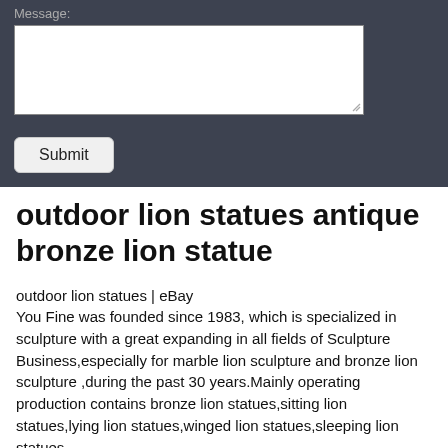[Figure (screenshot): Dark-background web form section showing a Message textarea with a Submit button below it, on a dark navy/charcoal background.]
outdoor lion statues antique bronze lion statue
outdoor lion statues | eBay
You Fine was founded since 1983, which is specialized in sculpture with a great expanding in all fields of Sculpture Business,especially for marble lion sculpture and bronze lion sculpture ,during the past 30 years.Mainly operating production contains bronze lion statues,sitting lion statues,lying lion statues,winged lion statues,sleeping lion statues.
[Figure (photo): Photo of a bronze lion statue head/sculpture in what appears to be a workshop or garage setting with gray wall panels on the left and a yellow/orange door on the right.]